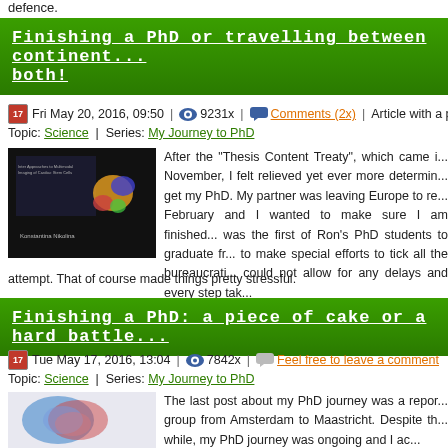defence.
Finishing a PhD or travelling between continents — or both!
Fri May 20, 2016, 09:50 | 9231x | Comments (2x) | Article with a photoga... Topic: Science | Series: My Journey to PhD
[Figure (photo): Thumbnail of a PhD thesis book cover with scientific imaging on black background]
After the "Thesis Content Treaty", which came in November, I felt relieved yet ever more determined to get my PhD. My partner was leaving Europe to return in February and I wanted to make sure I am finished... was the first of Ron's PhD students to graduate from... to make special efforts to tick all the bureaucratic... could not allow for any delays and every step taken... attempt. That of course made things pretty stressful.
Finishing a PhD: a piece of cake or a hard battle...
Tue May 17, 2016, 13:04 | 7842x | Feel free to leave a comment Topic: Science | Series: My Journey to PhD
[Figure (photo): Thumbnail showing colorful brain/scientific imaging with blue and red blobs]
The last post about my PhD journey was a report... group from Amsterdam to Maastricht. Despite th... while, my PhD journey was ongoing and I ac...